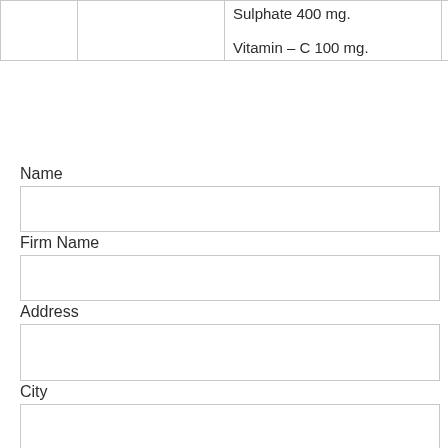|  |  | Sulphate 400 mg.
Vitamin – C 100 mg. |  |
Name
Firm Name
Address
City
State
Email